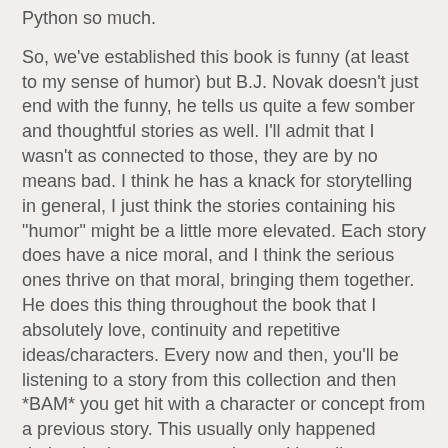Python so much.
So, we've established this book is funny (at least to my sense of humor) but B.J. Novak doesn't just end with the funny, he tells us quite a few somber and thoughtful stories as well. I'll admit that I wasn't as connected to those, they are by no means bad. I think he has a knack for storytelling in general, I just think the stories containing his "humor" might be a little more elevated. Each story does have a nice moral, and I think the serious ones thrive on that moral, bringing them together. He does this thing throughout the book that I absolutely love, continuity and repetitive ideas/characters. Every now and then, you'll be listening to a story from this collection and then *BAM* you get hit with a character or concept from a previous story. This usually only happened during the humourous stories and it really reminded me of a style they used in a few 80's movies I loved (Kentucky Fried Movie and Amazon Women on the Moon). If you haven't seen them, seriously check them out, you'll get the